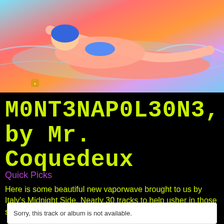[Figure (illustration): A woman swimmer in a blue bikini and goggles swimming in a pool with a vivid orange/pink/blue color-enhanced artistic rendering. A small logo or watermark is visible in the lower left of the image.]
M0NT3NAP0L30N3, by Mr. Coquedeux
Quick Picks
Here is some beautiful new vaporwave brought to us by Italy's Midnight Side. Nearly 30 tracks to help usher in those steamy summer nights.
Sorry, this track or album is not available.